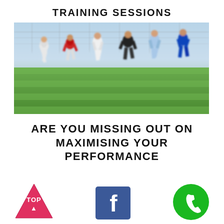TRAINING SESSIONS
[Figure (photo): Youth soccer players running on a grass field during a training session, motion-blurred action shot]
ARE YOU MISSING OUT ON MAXIMISING YOUR PERFORMANCE
[Figure (infographic): Three icons at the bottom: a pink/red triangle with TOP written inside (back-to-top button), a blue Facebook icon, and a green circle phone icon]
[Figure (logo): Pink-red triangle with 'TOP' text inside, representing a back-to-top button]
[Figure (logo): Blue Facebook button icon with white letter f]
[Figure (logo): Green circle with white phone handset icon]